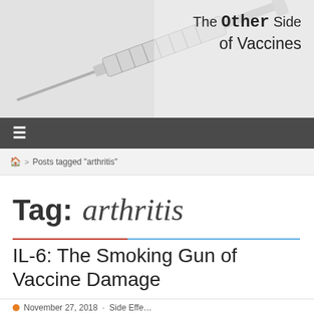[Figure (photo): Header image of a syringe/needle in grayscale on light background, with website title 'The Other Side of Vaccines' in the top right]
≡
🏠 > Posts tagged "arthritis"
Tag: arthritis
IL-6: The Smoking Gun of Vaccine Damage
November 27, 2018 · Side Effects